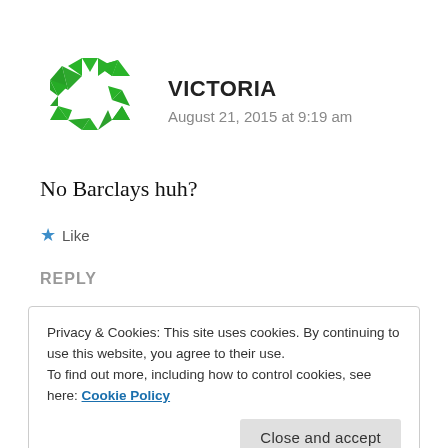[Figure (logo): Green geometric circular avatar made of triangular puzzle-like pieces forming a ring shape]
VICTORIA
August 21, 2015 at 9:19 am
No Barclays huh?
★ Like
REPLY
Privacy & Cookies: This site uses cookies. By continuing to use this website, you agree to their use.
To find out more, including how to control cookies, see here: Cookie Policy
Close and accept